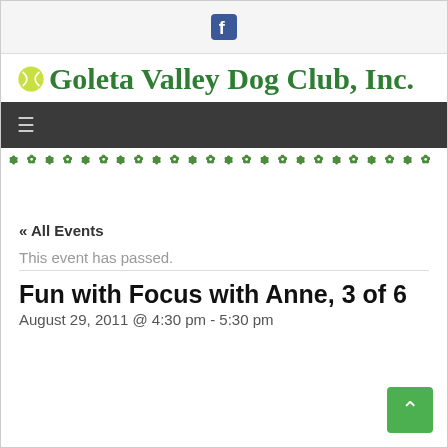[Facebook icon]
Goleta Valley Dog Club, Inc.
[Figure (other): Dark navigation bar with hamburger menu icon]
[Figure (other): Decorative green paw print border divider]
« All Events
This event has passed.
Fun with Focus with Anne, 3 of 6
August 29, 2011 @ 4:30 pm - 5:30 pm